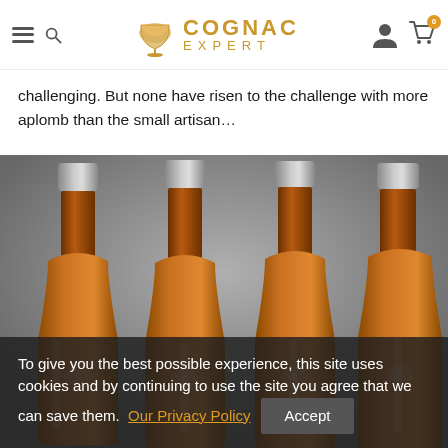COGNAC EXPERT — Navigation header with hamburger menu, search, user account, and cart icons
challenging. But none have risen to the challenge with more aplomb than the small artisan…
[Figure (photo): Four cognac bottles with silver/pewter foil tops and amber-colored liquid, arranged side by side against a grey gradient background. Each bottle features a small lion emblem on the label area.]
To give you the best possible experience, this site uses cookies and by continuing to use the site you agree that we can save them. Our Privacy Policy  Accept